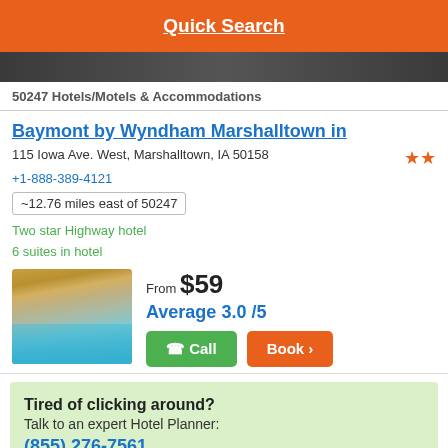Quick Search
50247 Hotels/Motels & Accommodations
Baymont by Wyndham Marshalltown in
115 Iowa Ave. West, Marshalltown, IA 50158
+1-888-389-4121
~12.76 miles east of 50247
Two star Highway hotel
6 suites in hotel
[Figure (photo): Indoor swimming pool photo]
From $59
Average 3.0 /5
Call  Book
Tired of clicking around?
Talk to an expert Hotel Planner:
(855) 276-7561